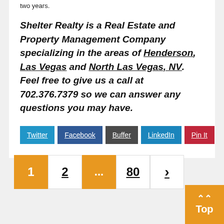two years.
Shelter Realty is a Real Estate and Property Management Company specializing in the areas of Henderson, Las Vegas and North Las Vegas, NV. Feel free to give us a call at 702.376.7379 so we can answer any questions you may have.
[Figure (other): Social sharing buttons: Twitter, Facebook, Buffer, LinkedIn, Pin It]
[Figure (other): Pagination: page 1 (active/orange), page 2, ellipsis (orange), page 80, next arrow (>)]
[Figure (other): Back to top button with double up-arrow chevron and 'Top' label, orange background, bottom-right corner]